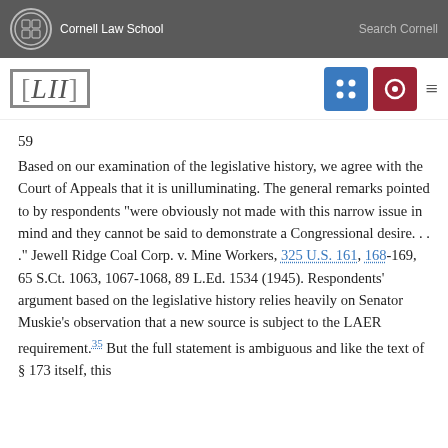Cornell Law School | Search Cornell
[Figure (logo): LII Legal Information Institute logo with navigation icons]
59
Based on our examination of the legislative history, we agree with the Court of Appeals that it is unilluminating. The general remarks pointed to by respondents "were obviously not made with this narrow issue in mind and they cannot be said to demonstrate a Congressional desire. . . ." Jewell Ridge Coal Corp. v. Mine Workers, 325 U.S. 161, 168-169, 65 S.Ct. 1063, 1067-1068, 89 L.Ed. 1534 (1945). Respondents' argument based on the legislative history relies heavily on Senator Muskie's observation that a new source is subject to the LAER requirement.35 But the full statement is ambiguous and like the text of § 173 itself, this